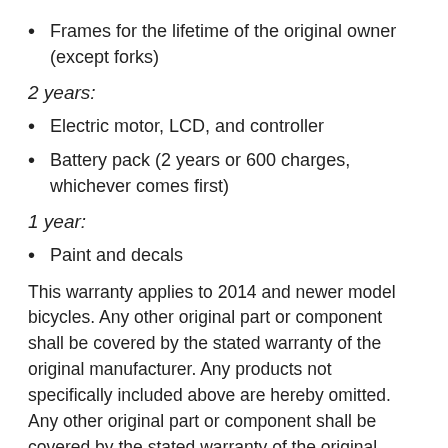Frames for the lifetime of the original owner (except forks)
2 years:
Electric motor, LCD, and controller
Battery pack (2 years or 600 charges, whichever comes first)
1 year:
Paint and decals
This warranty applies to 2014 and newer model bicycles. Any other original part or component shall be covered by the stated warranty of the original manufacturer. Any products not specifically included above are hereby omitted. Any other original part or component shall be covered by the stated warranty of the original manufacturer. Any products not specifically included above are hereby omitted.
THIS WARRANTY DOES NOT COVER: